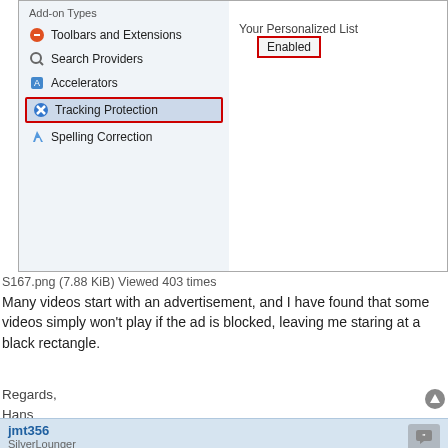[Figure (screenshot): Internet Explorer Manage Add-ons dialog showing left panel with Add-on Types list (Toolbars and Extensions, Search Providers, Accelerators, Tracking Protection [highlighted with red border], Spelling Correction) and right panel showing 'Your Personalized List' with 'Enabled' button highlighted with red border]
S167.png (7.88 KiB) Viewed 403 times
Many videos start with an advertisement, and I have found that some videos simply won't play if the ad is blocked, leaving me staring at a black rectangle.
Regards,
Hans
jmt356
SilverLounger
Re: Green or black screen displays when viewing videos on IE
24 Jan 2016, 17:54
I went to Tools | Internet Options | Programs tab | Manage Add-Ons and noted that Tracking Protection is disabled. Should it be enabled?